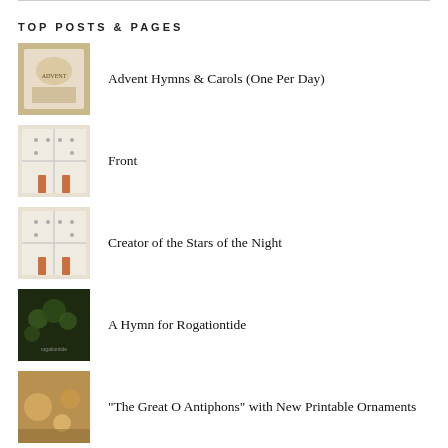TOP POSTS & PAGES
Advent Hymns & Carols (One Per Day)
Front
Creator of the Stars of the Night
A Hymn for Rogationtide
"The Great O Antiphons" with New Printable Ornaments
The Ember Days